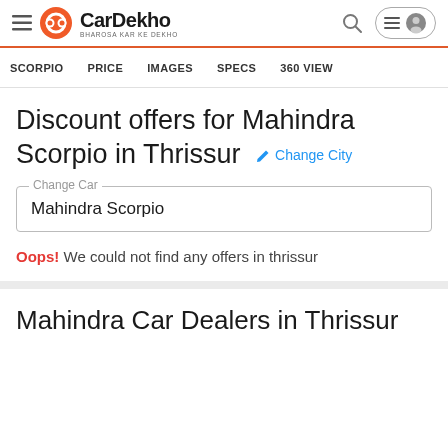CarDekho — BHAROSA KAR KE DEKHO
SCORPIO   PRICE   IMAGES   SPECS   360 VIEW
Discount offers for Mahindra Scorpio in Thrissur  Change City
Change Car: Mahindra Scorpio
Oops! We could not find any offers in thrissur
Mahindra Car Dealers in Thrissur